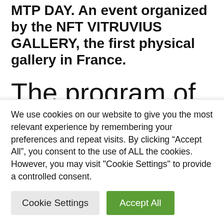MTP DAY. An event organized by the NFT VITRUVIUS GALLERY, the first physical gallery in France.
The program of the day
During the day, you can talk to many Web 3.0 and NFT experts thanks to special
We use cookies on our website to give you the most relevant experience by remembering your preferences and repeat visits. By clicking “Accept All”, you consent to the use of ALL the cookies. However, you may visit "Cookie Settings" to provide a controlled consent.